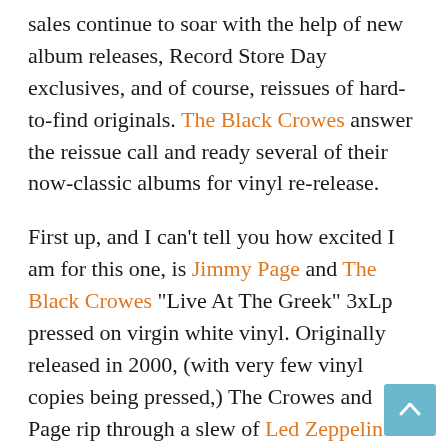sales continue to soar with the help of new album releases, Record Store Day exclusives, and of course, reissues of hard-to-find originals. The Black Crowes answer the reissue call and ready several of their now-classic albums for vinyl re-release.

First up, and I can't tell you how excited I am for this one, is Jimmy Page and The Black Crowes “Live At The Greek” 3xLp pressed on virgin white vinyl. Originally released in 2000, (with very few vinyl copies being pressed,) The Crowes and Page rip through a slew of Led Zeppelin
[Figure (other): Back to top button — light blue square button with upward-pointing chevron/caret arrow]